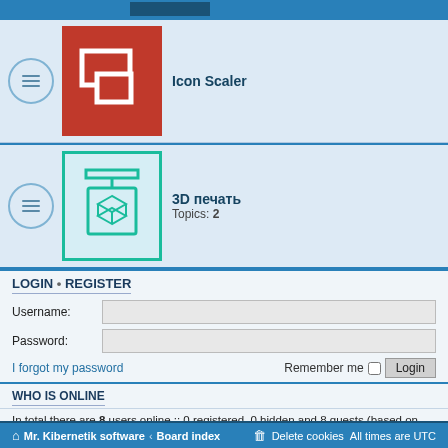[Figure (screenshot): Top strip with blue box placeholder]
[Figure (screenshot): Forum row: Icon Scaler with red icon containing overlapping rectangles]
Icon Scaler
[Figure (screenshot): Forum row: 3D печать with teal 3D printer icon]
3D печать
Topics: 2
LOGIN • REGISTER
Username:
Password:
I forgot my password
Remember me
WHO IS ONLINE
In total there are 8 users online :: 0 registered, 0 hidden and 8 guests (based on users active over the past 5 minutes)
Most users ever online was 427 on Wed Jan 15, 2020 7:14 pm
STATISTICS
Total posts 13038 • Total topics 1942 • Total members 801 • Our newest member mithila
Mr. Kibernetik software • Board index    Delete cookies  All times are UTC